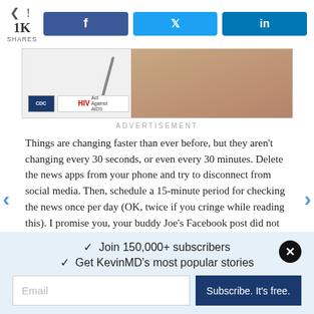1K SHARES
[Figure (screenshot): Social share buttons: Facebook (f), Twitter (bird icon), LinkedIn (in)]
[Figure (photo): Advertisement image showing a doctor in a white coat, with CDC and HIV logos overlay]
ADVERTISEMENT
Things are changing faster than ever before, but they aren't changing every 30 seconds, or even every 30 minutes. Delete the news apps from your phone and try to disconnect from social media. Then, schedule a 15-minute period for checking the news once per day (OK, twice if you cringe while reading this). I promise you, your buddy Joe's Facebook post did not break that news story. If it's true and relevant, you'll find it in the...
✓  Join 150,000+ subscribers
✓  Get KevinMD's most popular stories